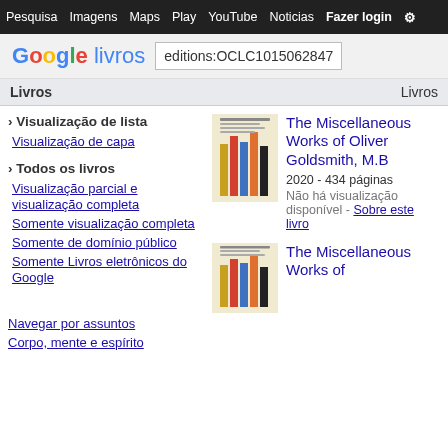Pesquisa  Imagens  Maps  Play  YouTube  Noticias  Fazer login  Configurações
[Figure (logo): Google livros logo with colorful Google lettering and 'livros' in blue]
editions:OCLC1015062847
Livros
› Visualização de lista
Visualização de capa
› Todos os livros
Visualização parcial e visualização completa
Somente visualização completa
Somente de domínio público
Somente Livros eletrônicos do Google
Navegar por assuntos
Corpo, mente e espírito
[Figure (illustration): Book cover of The Miscellaneous Works of Oliver Goldsmith M.B showing colorful vertical stripes]
The Miscellaneous Works of Oliver Goldsmith, M.B
2020 - 434 páginas
Não há visualização disponível - Sobre este livro
[Figure (illustration): Second book cover of The Miscellaneous Works of Oliver Goldsmith M.B]
The Miscellaneous Works of